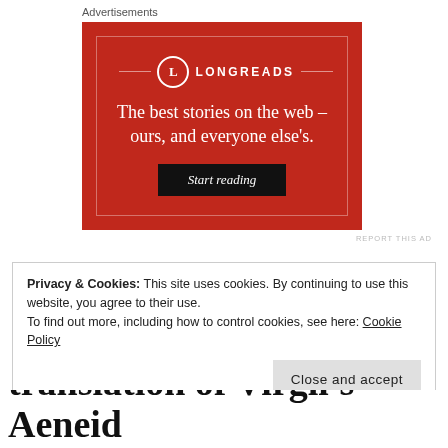Advertisements
[Figure (other): Longreads advertisement banner on red background. Logo at top with circle L and LONGREADS text. Headline: The best stories on the web – ours, and everyone else's. Black Start reading button.]
REPORT THIS AD
Privacy & Cookies: This site uses cookies. By continuing to use this website, you agree to their use.
To find out more, including how to control cookies, see here: Cookie Policy
Close and accept
translation of Virgil's Aeneid